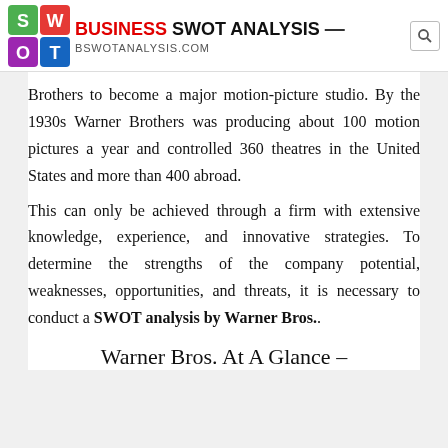BUSINESS SWOT ANALYSIS — BSWOTANALYSIS.COM
Brothers to become a major motion-picture studio. By the 1930s Warner Brothers was producing about 100 motion pictures a year and controlled 360 theatres in the United States and more than 400 abroad.
This can only be achieved through a firm with extensive knowledge, experience, and innovative strategies. To determine the strengths of the company potential, weaknesses, opportunities, and threats, it is necessary to conduct a SWOT analysis by Warner Bros..
Warner Bros. At A Glance –